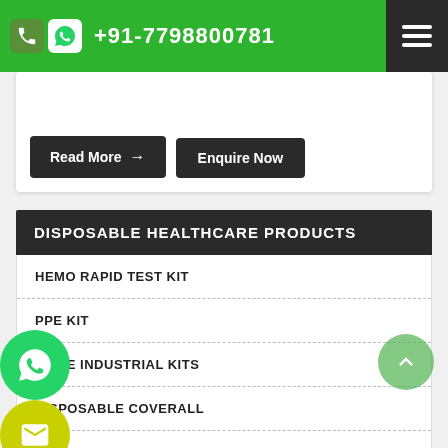+91-7798800781
Read More → Enquire Now
DISPOSABLE HEALTHCARE PRODUCTS
HEMO RAPID TEST KIT
PPE KIT
MSME INDUSTRIAL KITS
DISPOSABLE COVERALL
MEDICAL GOWN
DISPOSABLE GLOVES
ARTIFICIAL INSEMINATION GLOVES
SHOE COVER